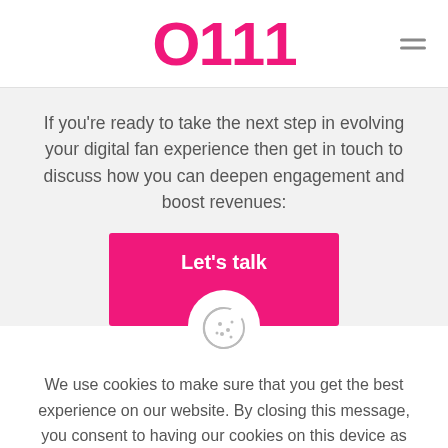O111
If you're ready to take the next step in evolving your digital fan experience then get in touch to discuss how you can deepen engagement and boost revenues:
Let's talk
[Figure (illustration): Cookie icon - a cookie with bite taken out, decorated with dots]
We use cookies to make sure that you get the best experience on our website. By closing this message, you consent to having our cookies on this device as set out in our cookie policy.
×